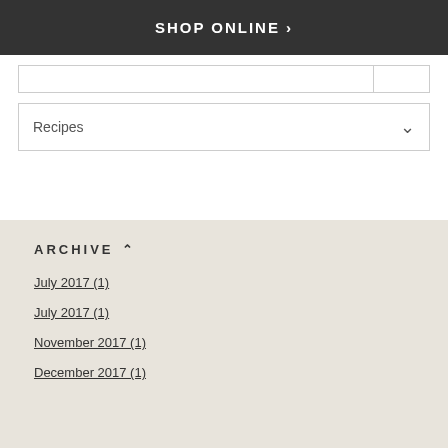SHOP ONLINE >
Recipes
ARCHIVE ^
July 2017 (1)
July 2017 (1)
November 2017 (1)
December 2017 (1)